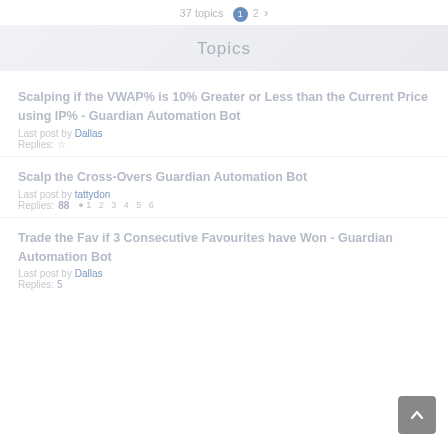37 topics  1  2  →
Topics
Scalping if the VWAP% is 10% Greater or Less than the Current Price using IP% - Guardian Automation Bot
Last post by Dallas
Replies: ☆
Scalp the Cross-Overs Guardian Automation Bot
Last post by tattydon
Replies: 88   1  2  3  4  5  6
Trade the Fav if 3 Consecutive Favourites have Won - Guardian Automation Bot
Last post by Dallas
Replies: 5